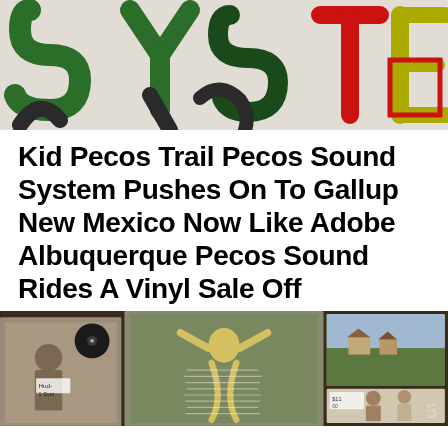[Figure (photo): Cropped photo showing large hand-drawn letters on paper, appearing to spell 'SYSTEM' in green, red, and yellow marker.]
Kid Pecos Trail Pecos Sound System Pushes On To Gallup New Mexico Now Like Adobe Albuquerque Pecos Sound Rides A Vinyl Sale Off
[Figure (photo): Photo of vinyl record album covers laid out on a surface, including one with a folk-art style illustration of a figure with raised arms with text written on it, flanked by vintage photographs.]